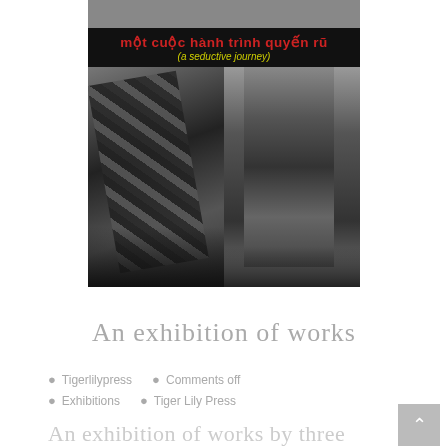[Figure (photo): Book cover with Vietnamese title 'một cuộc hành trình quyến rũ' and subtitle '(a seductive journey)' in red/yellow text on black bar, with two photos below: left showing wooden scaffolding structure in black and white, right showing a stone carved figure/relief in black and white.]
An exhibition of works
Tigerlilypress   Comments off
Exhibitions   Tiger Lily Press
An exhibition of works by three